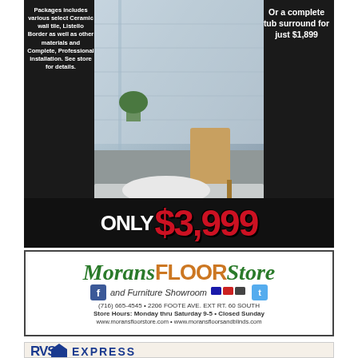[Figure (photo): Advertisement for Morans Floor Store showing a bathroom with tiled shower surround. Black background with text overlays. Large price 'ONLY $3,999' at bottom. Left text describes package includes, right text mentions tub surround for $1,899.]
Packages includes various select Ceramic wall tile, Listello Border as well as other materials and Complete, Professional installation. See store for details.
Or a complete tub surround for just $1,899
ONLY $3,999
[Figure (logo): Morans Floor Store and Furniture Showroom logo with Facebook and Twitter icons, credit card icons, phone number (716) 665-4545, address 2206 Foote Ave. Ext Rt. 60 South, store hours Monday thru Saturday 9-5 Closed Sunday, websites www.moransfloorstore.com and www.moransfloorsandblinds.com]
[Figure (logo): RVS Express logo in blue with house/arrow roof shape]